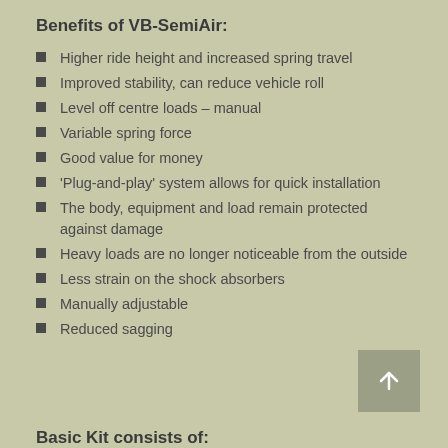Benefits of VB-SemiAir:
Higher ride height and increased spring travel
Improved stability, can reduce vehicle roll
Level off centre loads – manual
Variable spring force
Good value for money
'Plug-and-play' system allows for quick installation
The body, equipment and load remain protected against damage
Heavy loads are no longer noticeable from the outside
Less strain on the shock absorbers
Manually adjustable
Reduced sagging
Basic Kit consists of: